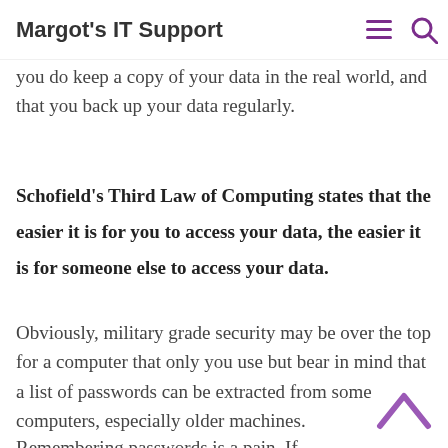Margot's IT Support
If you upload everything to a cloud provider (GDrive, OneDrive, iDrive etc.) make sure that you do keep a copy of your data in the real world, and that you back up your data regularly.
Schofield's Third Law of Computing states that the easier it is for you to access your data, the easier it is for someone else to access your data.
Obviously, military grade security may be over the top for a computer that only you use but bear in mind that a list of passwords can be extracted from some computers, especially older machines.
Remembering passwords is a pain. If